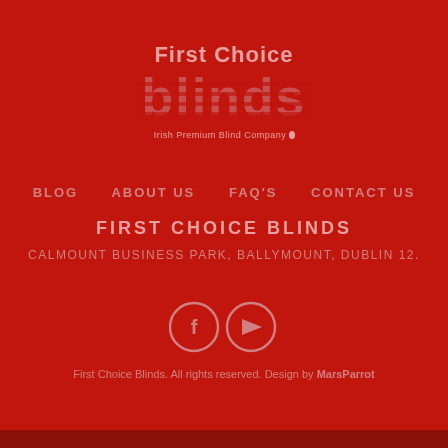[Figure (logo): First Choice Blinds logo — text 'First Choice' above large stylized 'blinds' text with horizontal blind slat lines, subtitle 'Irish Premium Blind Company' below]
BLOG   ABOUT US   FAQ'S   CONTACT US
FIRST CHOICE BLINDS
CALMOUNT BUSINESS PARK, BALLYMOUNT, DUBLIN 12.
[Figure (illustration): Two circular social media icons side by side: Facebook (f) and YouTube (play button)]
First Choice Blinds. All rights reserved. Design by MarsParrot